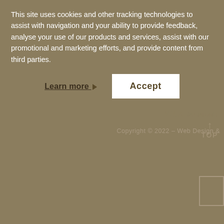This site uses cookies and other tracking technologies to assist with navigation and your ability to provide feedback, analyse your use of our products and services, assist with our promotional and marketing efforts, and provide content from third parties.
Learn more
Accept
€260
NOTIFY ME WHEN AVAILABLE
VISA
SecureCode.
↑ TOP
Copyright © 2022 – Web Design &